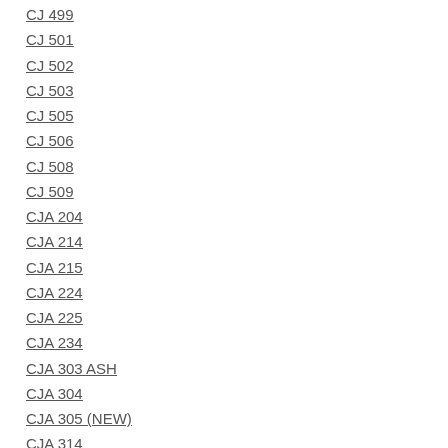CJ 499
CJ 501
CJ 502
CJ 503
CJ 505
CJ 506
CJ 508
CJ 509
CJA 204
CJA 214
CJA 215
CJA 224
CJA 225
CJA 234
CJA 303 ASH
CJA 304
CJA 305 (NEW)
CJA 314
CJA 315